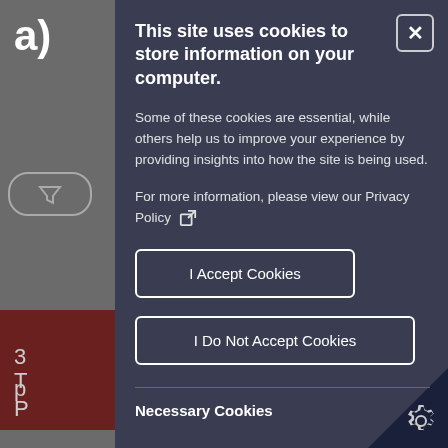[Figure (screenshot): Cookie consent modal dialog overlaying a website. Dark navy/slate background. Contains title, body text, Privacy Policy link, two buttons (Accept and Reject cookies), a horizontal divider, and a Necessary Cookies section header. A close button (X) is in the top right corner. Left side shows partially obscured website content.]
This site uses cookies to store information on your computer.
Some of these cookies are essential, while others help us to improve your experience by providing insights into how the site is being used.
For more information, please view our Privacy Policy
I Accept Cookies
I Do Not Accept Cookies
Necessary Cookies